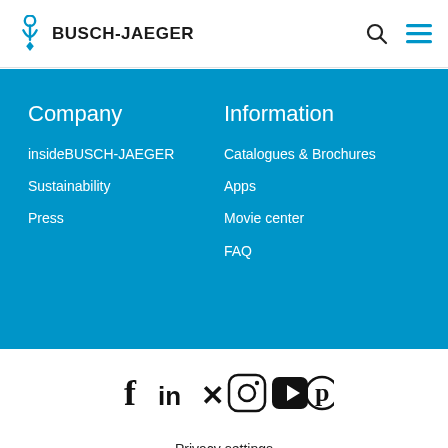BUSCH-JAEGER
Company
insideBUSCH-JAEGER
Sustainability
Press
Information
Catalogues & Brochures
Apps
Movie center
FAQ
[Figure (infographic): Social media icons: Facebook, LinkedIn, Xing, Instagram, YouTube, Pinterest]
Privacy settings
Data protection